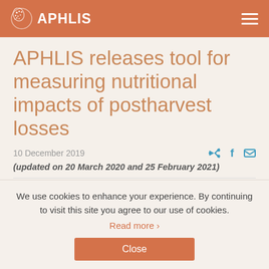APHLIS
APHLIS releases tool for measuring nutritional impacts of postharvest losses
10 December 2019
(updated on 20 March 2020 and 25 February 2021)
We use cookies to enhance your experience. By continuing to visit this site you agree to our use of cookies. Read more › Close